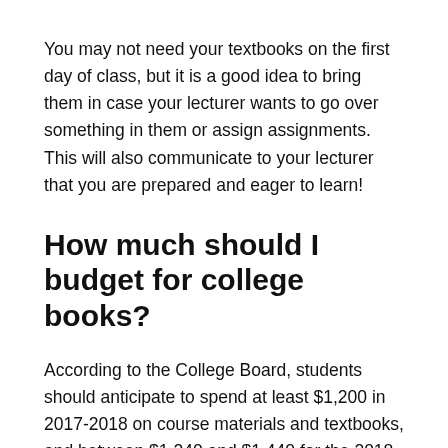You may not need your textbooks on the first day of class, but it is a good idea to bring them in case your lecturer wants to go over something in them or assign assignments. This will also communicate to your lecturer that you are prepared and eager to learn!
How much should I budget for college books?
According to the College Board, students should anticipate to spend at least $1,200 in 2017-2018 on course materials and textbooks, and between $1,240 and $1,440 for the 2018-2019 academic